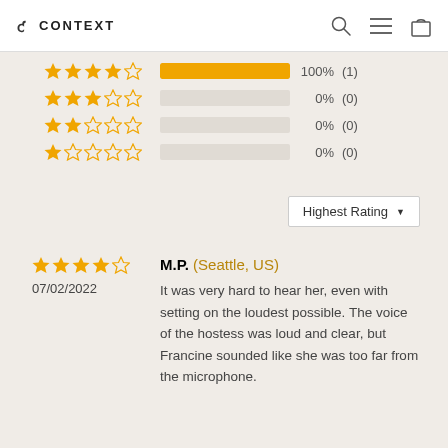CONTEXT
[Figure (other): Star rating distribution bars: 4-star 100% (1), 3-star 0% (0), 2-star 0% (0), 1-star 0% (0)]
Highest Rating ▼
[Figure (other): 4.5 star rating, dated 07/02/2022]
M.P. (Seattle, US)
It was very hard to hear her, even with setting on the loudest possible. The voice of the hostess was loud and clear, but Francine sounded like she was too far from the microphone.